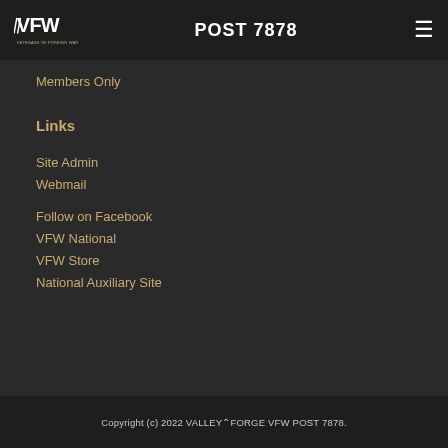POST 7878
Members Only
Links
Site Admin
Webmail
Follow on Facebook
VFW National
VFW Store
National Auxiliary Site
Copyright (c) 2022 VALLEY FORGE VFW POST 7878.